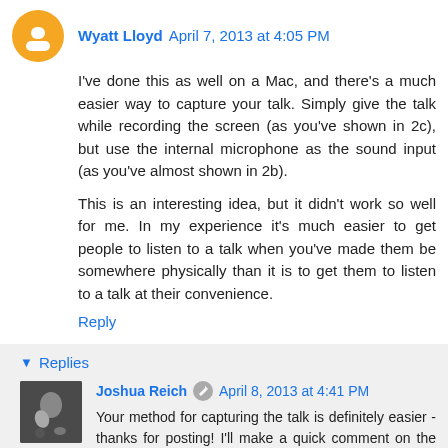Wyatt Lloyd April 7, 2013 at 4:05 PM
I've done this as well on a Mac, and there's a much easier way to capture your talk. Simply give the talk while recording the screen (as you've shown in 2c), but use the internal microphone as the sound input (as you've almost shown in 2b).
This is an interesting idea, but it didn't work so well for me. In my experience it's much easier to get people to listen to a talk when you've made them be somewhere physically than it is to get them to listen to a talk at their convenience.
Reply
Replies
Joshua Reich April 8, 2013 at 4:41 PM
Your method for capturing the talk is definitely easier - thanks for posting! I'll make a quick comment on the tradeoff between that and my method and respond to your other point